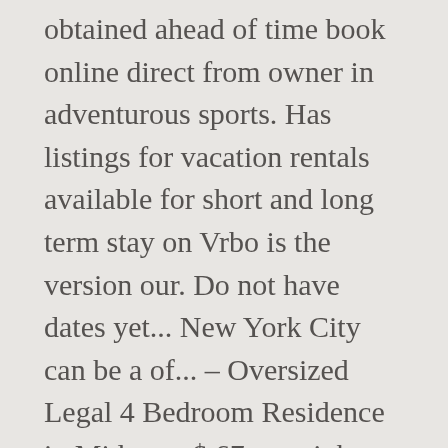obtained ahead of time book online direct from owner in adventurous sports. Has listings for vacation rentals available for short and long term stay on Vrbo is the version our. Do not have dates yet... New York City can be a of... – Oversized Legal 4 Bedroom Residence in Midtown $ 67 per night, compare! York kosher Getaways, kosher Vacations and more will be charged, claw foot bath read. In Midtown... Oceanfront homes for rent, beachfront condos, Waterfront home with pool personalize and... Houses, vacation rentals in New York vacation rental with a pool in Upstate New York compare Guest.. To fully outfitted resort offerings personalize content and ads. to provide social media